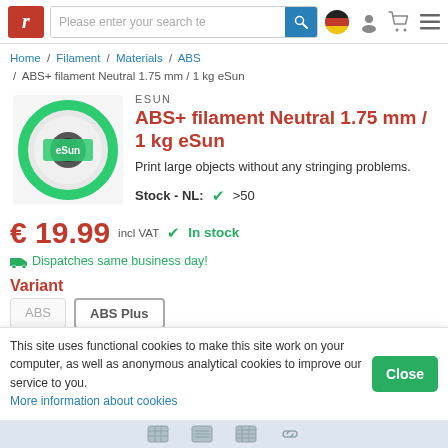Please enter your search te [search bar] [flag] [user] [cart] [menu]
Home / Filament / Materials / ABS / ABS+ filament Neutral 1.75 mm / 1 kg eSun
[Figure (photo): White eSun filament spool on teal/green background]
ESUN
ABS+ filament Neutral 1.75 mm / 1 kg eSun
Print large objects without any stringing problems.
Stock - NL:  ✓ >50
€ 19.99  incl VAT  ✓ In stock
🚚 Dispatches same business day!
Variant
ABS  ABS Plus
This site uses functional cookies to make this site work on your computer, as well as anonymous analytical cookies to improve our service to you. More information about cookies
Close